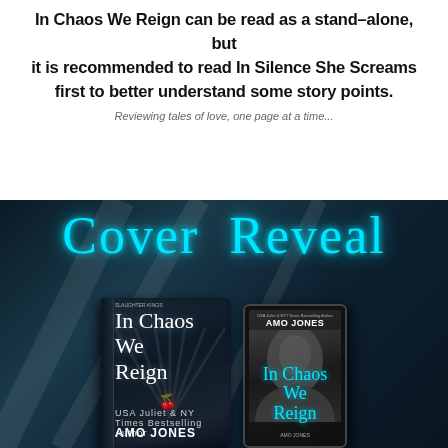In Chaos We Reign can be read as a stand-alone, but it is recommended to read In Silence She Screams first to better understand some story points.
Reviewing tales of love, one page at a time...
[Figure (illustration): Cover Reveal promotional image for 'In Chaos We Reign' by Amo Jones, showing both the physical book cover (dark circus-themed with white script title and red cherries) and an ebook/tablet version (showing an intimate grayscale photo with teal title text). The words 'Cover Reveal' are displayed in large teal cursive script over a dark background.]